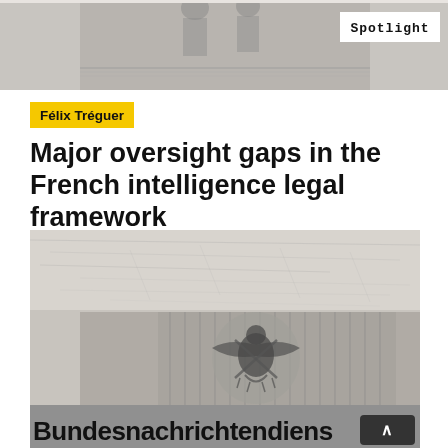[Figure (photo): Grayscale/sketch-style image showing figures at top, with Spotlight badge overlay in top-right corner]
Spotlight
Félix Tréguer
Major oversight gaps in the French intelligence legal framework
[Figure (photo): Grayscale photo of Bundesnachrichtendienst building with eagle emblem relief on wall and large text 'Bundesnachrichtendienst' visible at bottom]